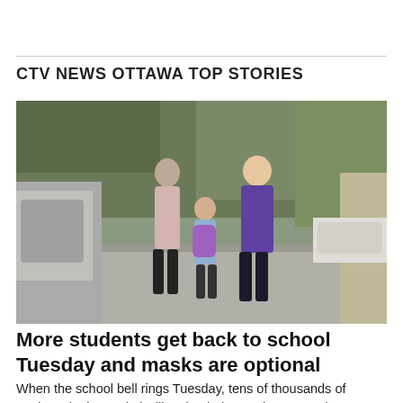CTV NEWS OTTAWA TOP STORIES
[Figure (photo): Photo of parents walking children to school from behind, on a suburban sidewalk. One adult wears a pink top, another wears a purple shirt. A child in the middle carries a colourful backpack. There are trees and parked cars visible.]
More students get back to school Tuesday and masks are optional
When the school bell rings Tuesday, tens of thousands of students in the capital will make their grand return to the